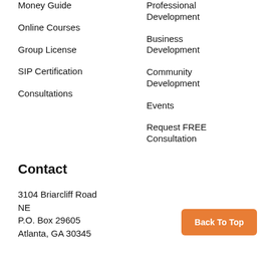Money Guide
Professional Development
Online Courses
Business Development
Group License
Community Development
SIP Certification
Events
Consultations
Request FREE Consultation
Contact
3104 Briarcliff Road NE
P.O. Box 29605
Atlanta, GA 30345
Back To Top